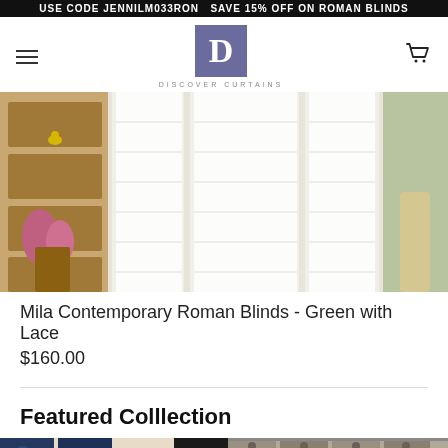USE CODE JENNILM033RON, SAVE 15% OFF ON ROMAN BLINDS
[Figure (logo): Discover Curtains logo - purple square with white D, text DISCOVER CURTAINS below]
[Figure (photo): Product photo of Mila Contemporary Roman Blinds - Green with Lace, showing white roman blinds on a window in a room with green walls and wooden shelving unit]
Mila Contemporary Roman Blinds - Green with Lace
$160.00
Featured Colllection
[Figure (photo): Featured collection product image - curtains with blue/navy leaf pattern]
[Figure (photo): Featured collection product image - grey/taupe eyelet curtains]
★ Judge.me Reviews